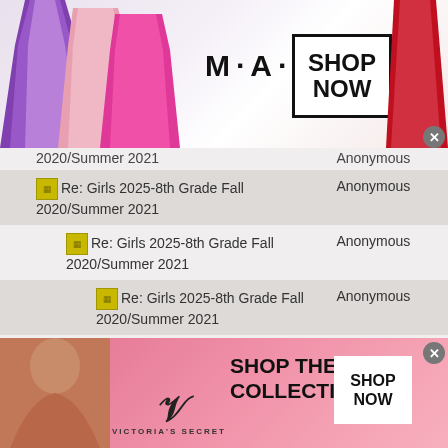[Figure (screenshot): MAC cosmetics advertisement banner with lipsticks in purple, pink, and red, MAC logo, and SHOP NOW button]
| Topic | Author |
| --- | --- |
| Re: Girls 2025-8th Grade Fall 2020/Summer 2021 | Anonymous |
| Re: Girls 2025-8th Grade Fall 2020/Summer 2021 | Anonymous |
| Re: Girls 2025-8th Grade Fall 2020/Summer 2021 | Anonymous |
| Re: Girls 2025-8th Grade Fall 2020/Summer 2021 | Anonymous |
| Re: Girls 2025-8th Grade Fall 2020/Summer 2021 | Anonymous |
| Re: Girls 2025-8th Grade Fall 2020/Summer 2021 | Anonymous |
[Figure (screenshot): Victoria's Secret advertisement banner with model, VS logo, SHOP THE COLLECTION text, and SHOP NOW button]